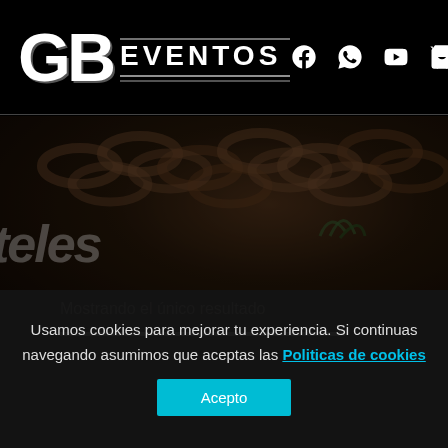[Figure (logo): GB Eventos logo with large GB letters and social media icons (Facebook, WhatsApp, YouTube, Cart)]
[Figure (photo): Dark background hero image with blurred chain/wood textures and partially visible italic text 'teles' with text 'Mostrando el único resultado' and a progress bar]
Usamos cookies para mejorar tu experiencia. Si continuas navegando asumimos que aceptas las Politicas de cookies
Acepto